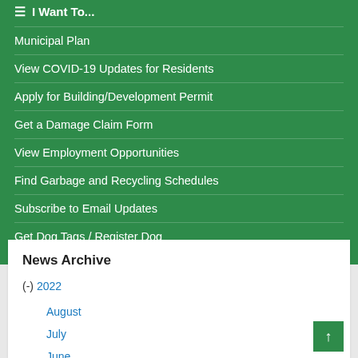☰ I Want To...
Municipal Plan
View COVID-19 Updates for Residents
Apply for Building/Development Permit
Get a Damage Claim Form
View Employment Opportunities
Find Garbage and Recycling Schedules
Subscribe to Email Updates
Get Dog Tags / Register Dog
News Archive
(-) 2022
August
July
June